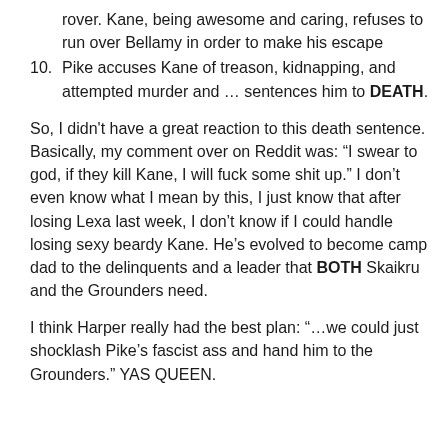rover. Kane, being awesome and caring, refuses to run over Bellamy in order to make his escape
10. Pike accuses Kane of treason, kidnapping, and attempted murder and … sentences him to DEATH.
So, I didn't have a great reaction to this death sentence. Basically, my comment over on Reddit was: “I swear to god, if they kill Kane, I will fuck some shit up.” I don’t even know what I mean by this, I just know that after losing Lexa last week, I don’t know if I could handle losing sexy beardy Kane. He’s evolved to become camp dad to the delinquents and a leader that BOTH Skaikru and the Grounders need.
I think Harper really had the best plan: “…we could just shocklash Pike’s fascist ass and hand him to the Grounders.” YAS QUEEN.